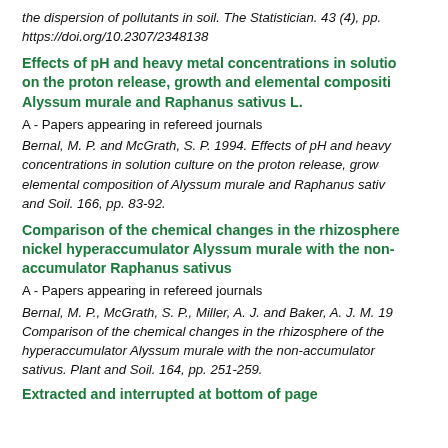the dispersion of pollutants in soil. The Statistician. 43 (4), pp. https://doi.org/10.2307/2348138
Effects of pH and heavy metal concentrations in solution on the proton release, growth and elemental composition of Alyssum murale and Raphanus sativus L.
A - Papers appearing in refereed journals
Bernal, M. P. and McGrath, S. P. 1994. Effects of pH and heavy concentrations in solution culture on the proton release, growth and elemental composition of Alyssum murale and Raphanus sativus and Soil. 166, pp. 83-92.
Comparison of the chemical changes in the rhizosphere of the nickel hyperaccumulator Alyssum murale with the non-accumulator Raphanus sativus
A - Papers appearing in refereed journals
Bernal, M. P., McGrath, S. P., Miller, A. J. and Baker, A. J. M. 19 Comparison of the chemical changes in the rhizosphere of the nickel hyperaccumulator Alyssum murale with the non-accumulator Raphanus sativus. Plant and Soil. 164, pp. 251-259.
Extracted and interrupted at bottom of page